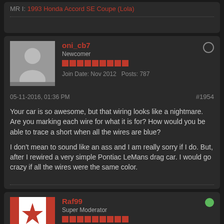MR I: 1993 Honda Accord SE Coupe (Lola)
oni_cb7 | Newcomer | Join Date: Nov 2012 | Posts: 787
05-11-2016, 01:36 PM | #1954
Your car is so awesome, but that wiring looks like a nightmare. Are you marking each wire for what it is for? How would you be able to trace a short when all the wires are blue?
I don't mean to sound like an ass and I am really sorry if I do. But, after I rewired a very simple Pontiac LeMans drag car. I would go crazy if all the wires were the same color.
Raf99 | Super Moderator | Join Date: Mar 2007 | Posts: 7374